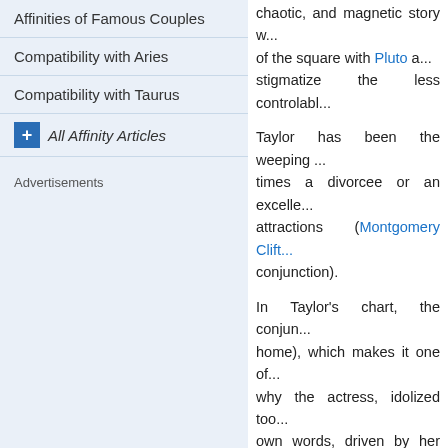Affinities of Famous Couples
Compatibility with Aries
Compatibility with Taurus
+ All Affinity Articles
Advertisements
chaotic, and magnetic story w... of the square with Pluto a... stigmatize the less controlabl...
Taylor has been the weeping ... times a divorcee or an excell... attractions (Montgomery Clift... conjunction).
In Taylor's chart, the conjun... home), which makes it one of... why the actress, idolized too... own words, driven by her me... perfect and lovely little girl in a... to glory.
| Elizabeth Taylor | Display her detailed horoscope |
Add to favourites (708 fans)
Born: Sa...